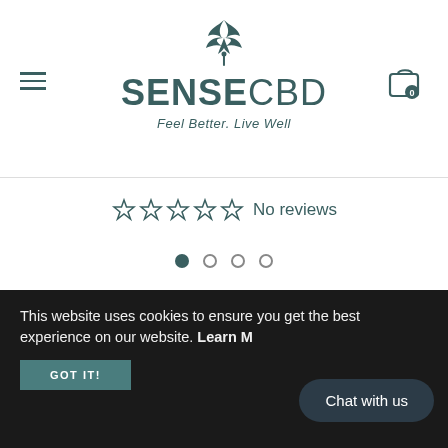SENSE CBD — Feel Better. Live Well
☆☆☆☆☆ No reviews
[Figure (other): Carousel dots: 4 dots, first filled/active, rest empty]
← Back to Best Sellers
This website uses cookies to ensure you get the best experience on our website. Learn M
GOT IT!
Chat with us